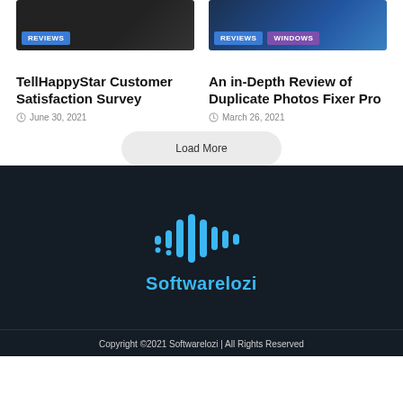[Figure (screenshot): Dark thumbnail image with REVIEWS badge]
TellHappyStar Customer Satisfaction Survey
June 30, 2021
[Figure (screenshot): Blue tech thumbnail image with REVIEWS and WINDOWS badges]
An in-Depth Review of Duplicate Photos Fixer Pro
March 26, 2021
Load More
[Figure (logo): Softwarelozi logo with cyan waveform/audio bars icon and text Softwarelozi]
Copyright ©2021 Softwarelozi | All Rights Reserved